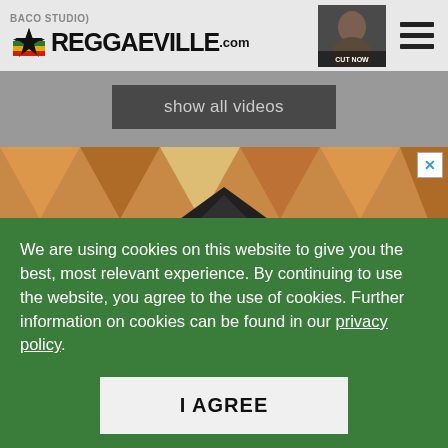BACO STUDIO)
[Figure (logo): Reggaeville.com logo with colored star icon]
[Figure (photo): Small thumbnail of a person with CUT NOW label]
show all videos
[Figure (photo): Decorative orange and tan mosaic/pattern advertisement banner with close X button]
We are using cookies on this website to give you the best, most relevant experience. By continuing to use the website, you agree to the use of cookies. Further information on cookies can be found in our privacy policy.
I AGREE